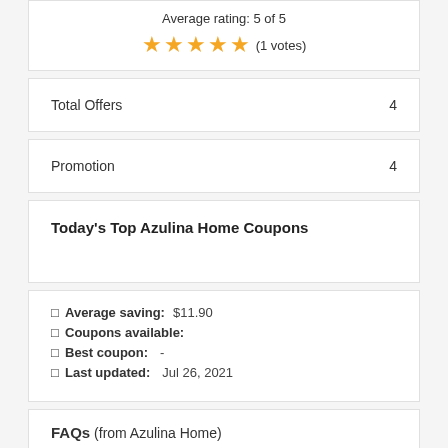Average rating: 5 of 5
★★★★★ (1 votes)
|  |  |
| --- | --- |
| Total Offers | 4 |
| Promotion | 4 |
Today's Top Azulina Home Coupons
Average saving: $11.90
Coupons available:
Best coupon: -
Last updated: Jul 26, 2021
FAQs (from Azulina Home)